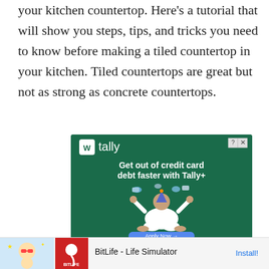your kitchen countertop. Here's a tutorial that will show you steps, tips, and tricks you need to know before making a tiled countertop in your kitchen. Tiled countertops are great but not as strong as concrete countertops.
[Figure (other): Tally advertisement — dark green background with Tally logo, headline 'Get out of credit card debt faster with Tally+', illustrated person meditating with credit cards, 'Apply Now →' button, fine print with NMLS and Green Dot Bank info.]
[Figure (other): Bottom banner advertisement for BitLife - Life Simulator app with 'Ad' label, animated character graphic, red icon with sperm/life symbol and BitLife logo, install button.]